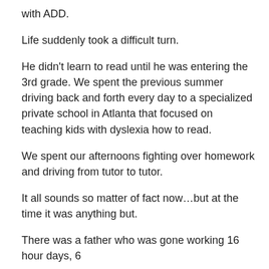with ADD.
Life suddenly took a difficult turn.
He didn't learn to read until he was entering the 3rd grade. We spent the previous summer driving back and forth every day to a specialized private school in Atlanta that focused on teaching kids with dyslexia how to read.
We spent our afternoons fighting over homework and driving from tutor to tutor.
It all sounds so matter of fact now…but at the time it was anything but.
There was a father who was gone working 16 hour days, 6